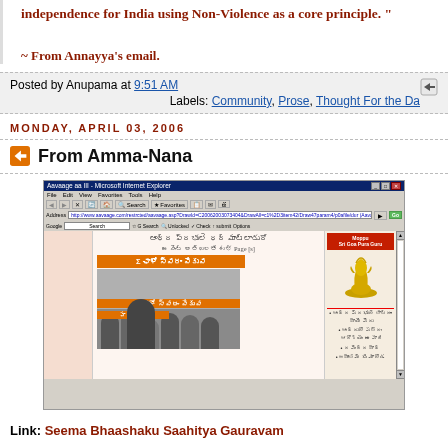independence for India using Non-Violence as a core principle. "
~ From Annayya's email.
Posted by Anupama at 9:51 AM
Labels: Community, Prose, Thought For the Da
MONDAY, APRIL 03, 2006
From Amma-Nana
[Figure (screenshot): Screenshot of a web browser (Microsoft Internet Explorer) showing a Telugu-language webpage with photos of people at an event with orange banners and Telugu text, and a sidebar with a golden animal figurine advertisement.]
Link: Seema Bhaashaku Saahitya Gauravam